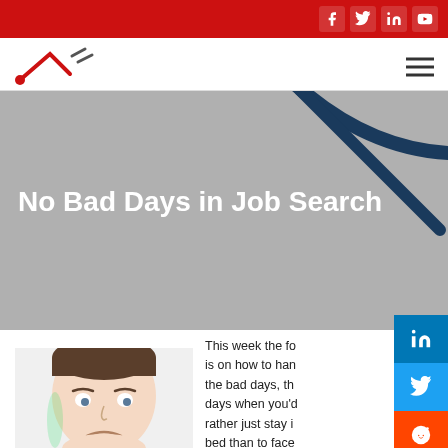Website header with red top bar and social icons (Facebook, Twitter, LinkedIn, YouTube)
No Bad Days in Job Search
[Figure (photo): Close-up photo of a man with a frowning, unhappy expression on a white/light background]
This week the focus is on how to handle the bad days, the days when you'd rather just stay in bed than to face another day of it...